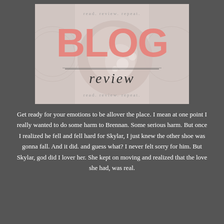[Figure (illustration): Blog Review banner image with decorative lace background, a circular blurred photo of flowers/books in center, large pink text 'BLOG' and stylized cursive 'review', with text 'read. review. repeat.' at top and bottom]
Get ready for your emotions to be allover the place. I mean at one point I really wanted to do some harm to Brennan. Some serious harm. But once I realized he fell and fell hard for Skylar, I just knew the other shoe was gonna fall. And it did. and guess what? I never felt sorry for him. But Skylar, god did I lover her. She kept on moving and realized that the love she had, was real.